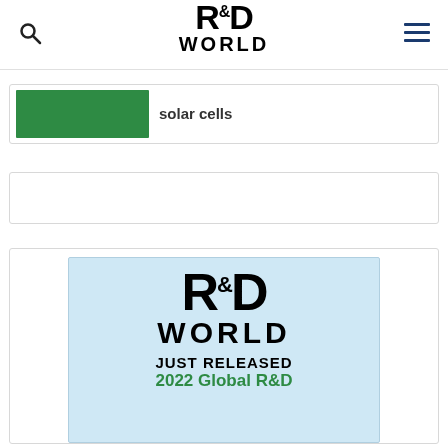R&D WORLD
[Figure (screenshot): Card with green image thumbnail and text 'solar cells']
[Figure (screenshot): Empty card placeholder]
[Figure (screenshot): R&D World advertisement banner showing logo, 'JUST RELEASED', '2022 Global R&D']